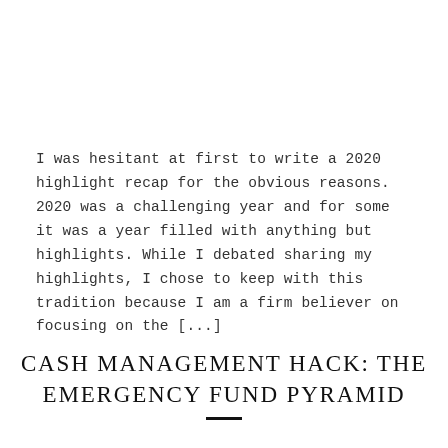I was hesitant at first to write a 2020 highlight recap for the obvious reasons. 2020 was a challenging year and for some it was a year filled with anything but highlights. While I debated sharing my highlights, I chose to keep with this tradition because I am a firm believer on focusing on the [...]
CASH MANAGEMENT HACK: THE EMERGENCY FUND PYRAMID